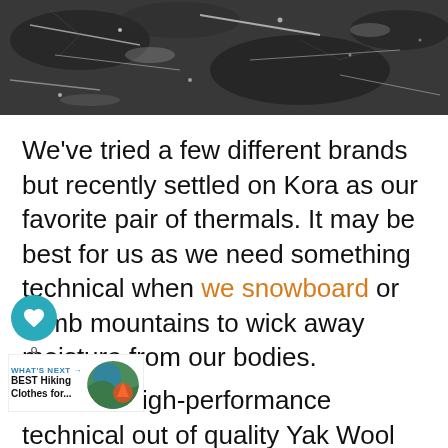[Figure (photo): Close-up photo of dark rocky/icy surface with white snow or ice crystals visible]
We’ve tried a few different brands but recently settled on Kora as our favorite pair of thermals. It may be best for us as we need something technical when we snowboard or climb mountains to wick away moisture from our bodies.
Kora makes high-performance technical out of quality Yak Wool from the Himalayas — warning they are high priced.